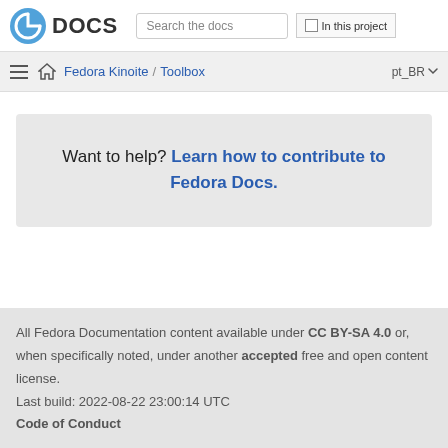Fedora DOCS | Search the docs | In this project
Fedora Kinoite / Toolbox | pt_BR
Want to help? Learn how to contribute to Fedora Docs.
All Fedora Documentation content available under CC BY-SA 4.0 or, when specifically noted, under another accepted free and open content license.
Last build: 2022-08-22 23:00:14 UTC
Code of Conduct